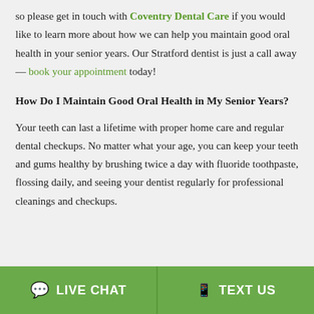so please get in touch with Coventry Dental Care if you would like to learn more about how we can help you maintain good oral health in your senior years. Our Stratford dentist is just a call away — book your appointment today!
How Do I Maintain Good Oral Health in My Senior Years?
Your teeth can last a lifetime with proper home care and regular dental checkups. No matter what your age, you can keep your teeth and gums healthy by brushing twice a day with fluoride toothpaste, flossing daily, and seeing your dentist regularly for professional cleanings and checkups.
LIVE CHAT   TEXT US